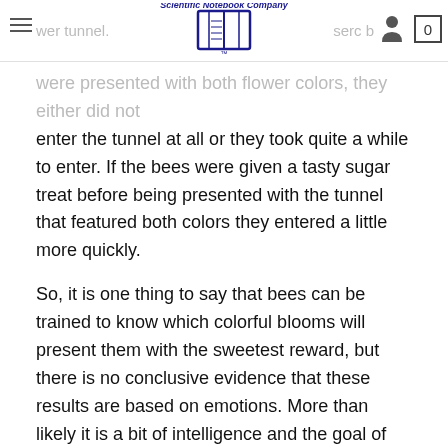Scientific Notebook Company
were presented with both flower colors, they either did not enter the tunnel at all or they took quite a while to enter. If the bees were given a tasty sugar treat before being presented with the tunnel that featured both colors they entered a little more quickly.
So, it is one thing to say that bees can be trained to know which colorful blooms will present them with the sweetest reward, but there is no conclusive evidence that these results are based on emotions. More than likely it is a bit of intelligence and the goal of finding the best treats.
Avoidance Behavior
One aspect of the study was to simulate an attack from a predator. After this simulated attack, bees that had not been given a sip of sugar water beforehand took a longer time to